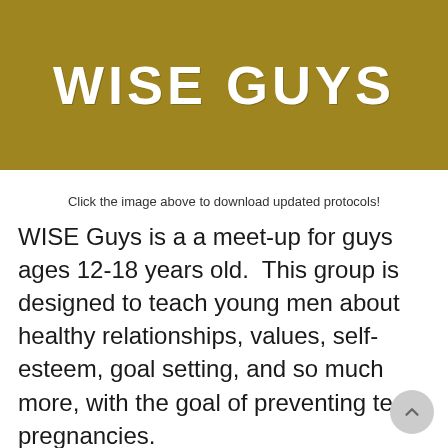[Figure (illustration): Gold/olive colored banner with 'WISE GUYS' text in large white bold brush-style font]
Click the image above to download updated protocols!
WISE Guys is a a meet-up for guys ages 12-18 years old.  This group is designed to teach young men about healthy relationships, values, self-esteem, goal setting, and so much more, with the goal of preventing teen pregnancies.